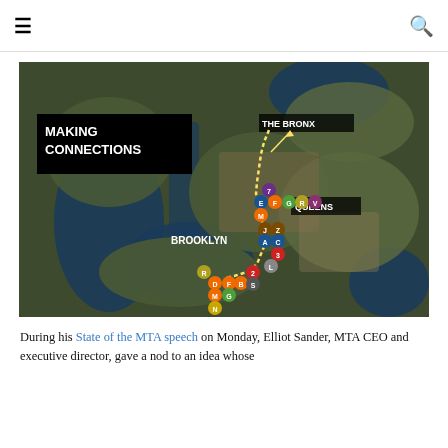≡  🔍
[Figure (map): Aerial/satellite map of New York City showing Brooklyn, Queens, The Bronx, and surrounding areas with a yellow dotted transit line running through various subway station markers (colored circles with letter labels). Title overlay reads MAKING CONNECTIONS in white text on black background.]
During his State of the MTA speech on Monday, Elliot Sander, MTA CEO and executive director, gave a nod to an idea whose